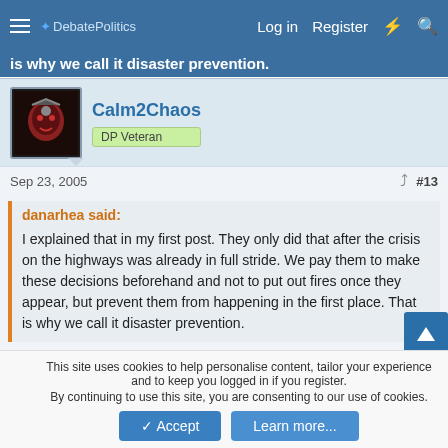DebatePolitics — Log in  Register
is why we call it disaster prevention.
Calm2Chaos
DP Veteran
Sep 23, 2005  #13
danarhea said:
I explained that in my first post. They only did that after the crisis on the highways was already in full stride. We pay them to make these decisions beforehand and not to put out fires once they appear, but prevent them from happening in the first place. That is why we call it disaster prevention.
Nothing is going to ever be good enough so it would seem to be
This site uses cookies to help personalise content, tailor your experience and to keep you logged in if you register.
By continuing to use this site, you are consenting to our use of cookies.